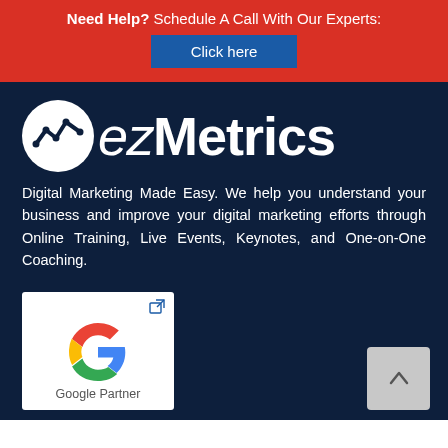Need Help? Schedule A Call With Our Experts:
Click here
[Figure (logo): ezMetrics logo — white circle with analytics line graph icon, followed by stylized text 'ezMetrics']
Digital Marketing Made Easy. We help you understand your business and improve your digital marketing efforts through Online Training, Live Events, Keynotes, and One-on-One Coaching.
[Figure (logo): Google Partner badge — white card with Google 'G' logo and text 'Google Partner']